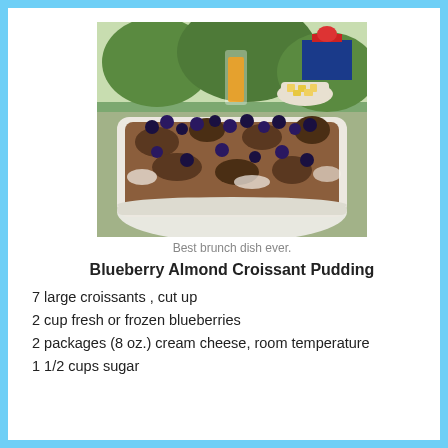[Figure (photo): A baking dish with blueberry almond croissant pudding on a table outdoors, with a glass of orange juice and bowl of pineapple in the background.]
Best brunch dish ever.
Blueberry Almond Croissant Pudding
7 large croissants , cut up
2 cup fresh or frozen blueberries
2 packages (8 oz.) cream cheese, room temperature
1 1/2 cups sugar